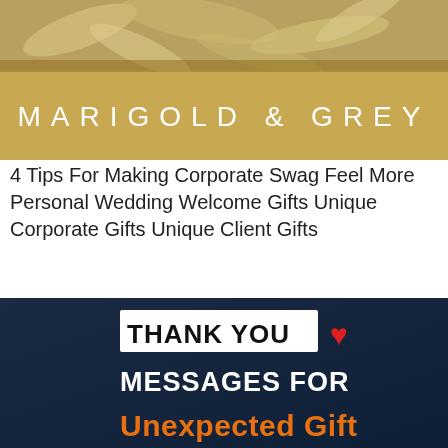[Figure (photo): Top portion of a wooden gift box with decorative silver/gold tissue paper, shown from above on a light background. Part of Marigold & Grey branding image.]
4 Tips For Making Corporate Swag Feel More Personal Wedding Welcome Gifts Unique Corporate Gifts Unique Client Gifts
[Figure (infographic): Dark navy blue background image with bold text reading 'THANK YOU ❤ MESSAGES FOR Unexpected Gift'. THANK YOU is in black bold text on a white rectangle with a red heart, MESSAGES FOR is in white bold text, and Unexpected Gift is in orange bold text.]